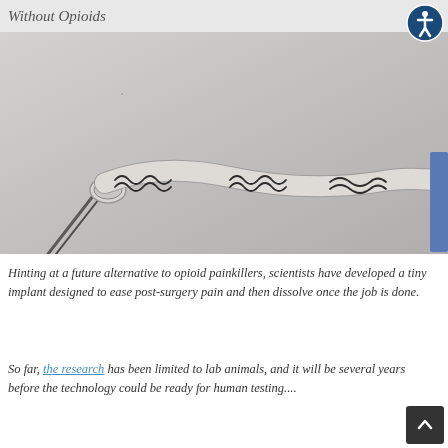Without Opioids
[Figure (photo): Close-up photo of a small flexible biomedical implant device with wavy/serpentine circuit patterns on a transparent or semi-transparent material, held by tweezers, on a light grey background with a blue object at the right edge.]
Hinting at a future alternative to opioid painkillers, scientists have developed a tiny implant designed to ease post-surgery pain and then dissolve once the job is done.
So far, the research has been limited to lab animals, and it will be several years before the technology could be ready for human testing....